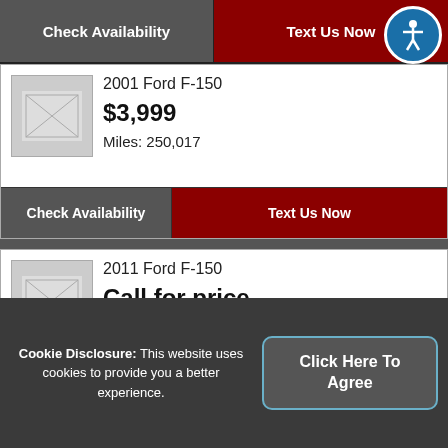Check Availability | Text Us Now
2001 Ford F-150
$3,999
Miles: 250,017
Check Availability | Text Us Now
2011 Ford F-150
Call for price
Miles: 149,855
Check Availability | Text Us Now
2009 Ford F-150
Cookie Disclosure: This website uses cookies to provide you a better experience.
Click Here To Agree